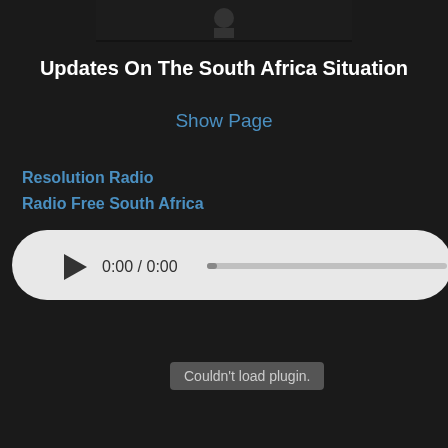[Figure (screenshot): Dark screenshot thumbnail showing a figure, cropped at the top of the page]
Updates On The South Africa Situation
Show Page
Resolution Radio
Radio Free South Africa
[Figure (other): Audio player widget with play button, time display 0:00 / 0:00, and a progress bar on a light rounded background]
Couldn't load plugin.